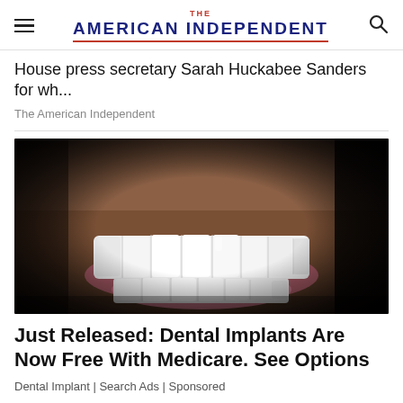THE AMERICAN INDEPENDENT
House press secretary Sarah Huckabee Sanders for wh...
The American Independent
[Figure (photo): Close-up photo of a man's smile showing bright white upper and lower teeth with stubble beard and dark background.]
Just Released: Dental Implants Are Now Free With Medicare. See OPTIONS
Dental Implant | Search Ads | Sponsored